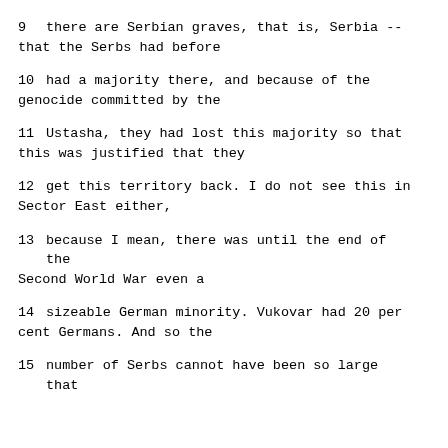9     there are Serbian graves, that is, Serbia -- that the Serbs had before
10     had a majority there, and because of the genocide committed by the
11     Ustasha, they had lost this majority so that this was justified that they
12     get this territory back.  I do not see this in Sector East either,
13     because I mean, there was until the end of the Second World War even a
14     sizeable German minority.  Vukovar had 20 per cent Germans.  And so the
15     number of Serbs cannot have been so large that